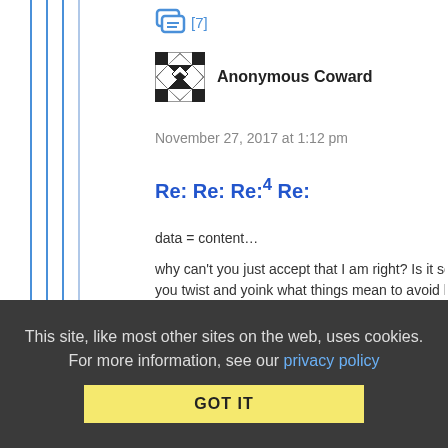[Figure (illustration): Reply/comment icon with [7] count in blue]
[Figure (illustration): Anonymous Coward avatar — black and white geometric pattern icon]
Anonymous Coward
November 27, 2017 at 1:12 pm
Re: Re: Re:4 Re:
data = content…
why can't you just accept that I am right? Is it so important t… you twist and yoink what things mean to avoid having to sa… okay… you are right… this is content regulation, but the regulation we want because it benefits us consumers!
This site, like most other sites on the web, uses cookies. For more information, see our privacy policy  GOT IT